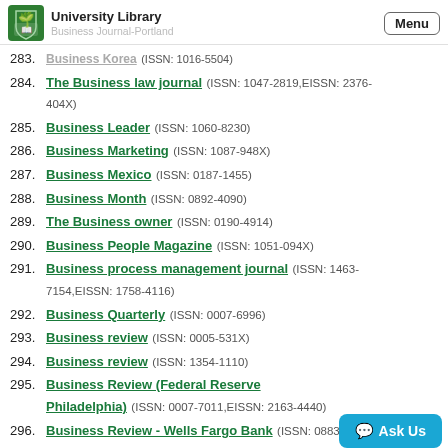University Library
283. Business Korea (ISSN: 1016-5504)
284. The Business law journal (ISSN: 1047-2819, EISSN: 2376-404X)
285. Business Leader (ISSN: 1060-8230)
286. Business Marketing (ISSN: 1087-948X)
287. Business Mexico (ISSN: 0187-1455)
288. Business Month (ISSN: 0892-4090)
289. The Business owner (ISSN: 0190-4914)
290. Business People Magazine (ISSN: 1051-094X)
291. Business process management journal (ISSN: 1463-7154, EISSN: 1758-4116)
292. Business Quarterly (ISSN: 0007-6996)
293. Business review (ISSN: 0005-531X)
294. Business review (ISSN: 1354-1110)
295. Business Review (Federal Reserve Bank of Philadelphia) (ISSN: 0007-7011, EISSN: 2163-4440)
296. Business Review - Wells Fargo Bank (ISSN: 0883-9670)